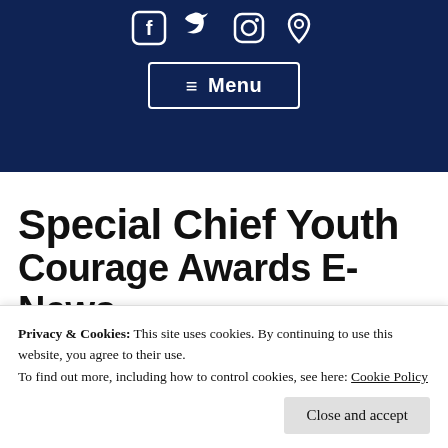[Figure (screenshot): Dark navy blue website header bar with social media icons (Facebook, Twitter, Instagram, location pin) and a Menu button with hamburger icon, white border]
Special Chief Youth Courage Awards E-News April 2020
Privacy & Cookies: This site uses cookies. By continuing to use this website, you agree to their use. To find out more, including how to control cookies, see here: Cookie Policy
Close and accept
[Figure (illustration): Red decorative swirl/ornament graphic at the bottom of the page]